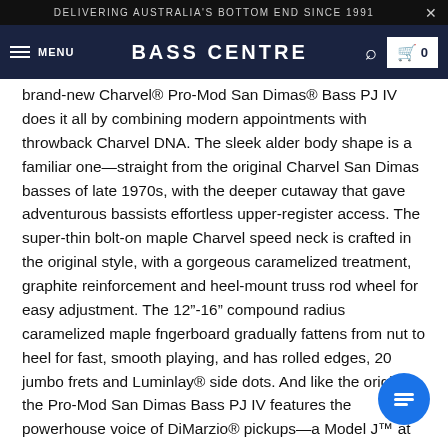DELIVERING AUSTRALIA'S BOTTOM END SINCE 1991
BASS CENTRE
brand-new Charvel® Pro-Mod San Dimas® Bass PJ IV does it all by combining modern appointments with throwback Charvel DNA. The sleek alder body shape is a familiar one—straight from the original Charvel San Dimas basses of late 1970s, with the deeper cutaway that gave adventurous bassists effortless upper-register access. The super-thin bolt-on maple Charvel speed neck is crafted in the original style, with a gorgeous caramelized treatment, graphite reinforcement and heel-mount truss rod wheel for easy adjustment. The 12"-16" compound radius caramelized maple fngerboard gradually fattens from nut to heel for fast, smooth playing, and has rolled edges, 20 jumbo frets and Luminlay® side dots. And like the originals, the Pro-Mod San Dimas Bass PJ IV features the powerhouse voice of DiMarzio® pickups—a Model J™ at the bridge for well-rounded punch and a Model P® in the middle for warm and